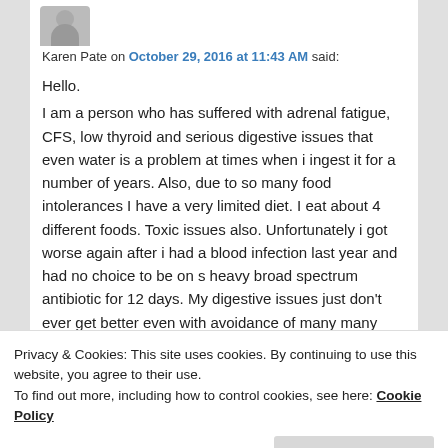[Figure (illustration): User avatar icon (grey silhouette)]
Karen Pate on October 29, 2016 at 11:43 AM said:
Hello.
I am a person who has suffered with adrenal fatigue, CFS, low thyroid and serious digestive issues that even water is a problem at times when i ingest it for a number of years. Also, due to so many food intolerances I have a very limited diet. I eat about 4 different foods. Toxic issues also. Unfortunately i got worse again after i had a blood infection last year and had no choice to be on s heavy broad spectrum antibiotic for 12 days. My digestive issues just don’t ever get better even with avoidance of many many things. I came
Privacy & Cookies: This site uses cookies. By continuing to use this website, you agree to their use.
To find out more, including how to control cookies, see here: Cookie Policy
Close and accept